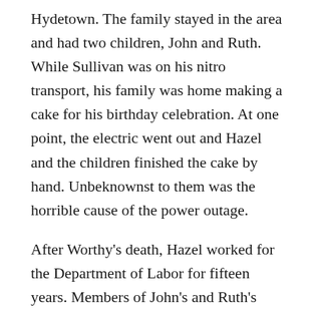Hydetown. The family stayed in the area and had two children, John and Ruth. While Sullivan was on his nitro transport, his family was home making a cake for his birthday celebration. At one point, the electric went out and Hazel and the children finished the cake by hand. Unbeknownst to them was the horrible cause of the power outage.
After Worthy's death, Hazel worked for the Department of Labor for fifteen years. Members of John's and Ruth's families still live locally today and sometimes tell family stories of their departed loved one. We appreciate his family members sharing his story with us for this article and reminding us of the dangerous lives our forebears lived in the Oil Region